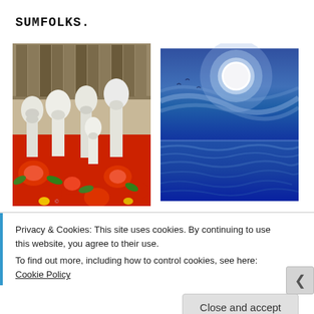SUMFOLKS.
[Figure (photo): Multiple white plaster or ceramic busts/figurines of a bearded man arranged in a group on a red floral fabric, with books in the background]
[Figure (photo): Painting or artwork depicting a moonlit seascape with a large white moon in a blue sky, reflecting over dark blue water]
Privacy & Cookies: This site uses cookies. By continuing to use this website, you agree to their use.
To find out more, including how to control cookies, see here: Cookie Policy
Close and accept